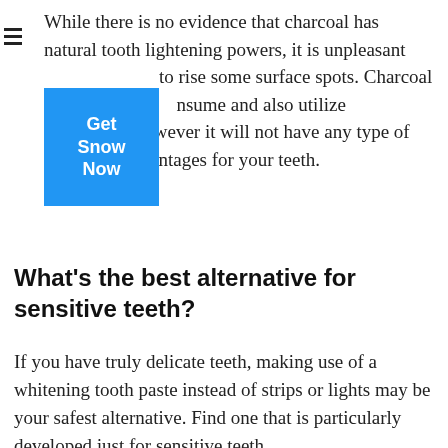While there is no evidence that charcoal has natural tooth lightening powers, it is unpleasant to rise some surface spots. Charcoal is nsume and also utilize sometimes, however it will not have any type of bleaching advantages for your teeth.
[Figure (other): Blue square button with white bold text reading 'Get Snow Now']
What’s the best alternative for sensitive teeth?
If you have truly delicate teeth, making use of a whitening tooth paste instead of strips or lights may be your safest alternative. Find one that is particularly developed just for sensitive teeth.